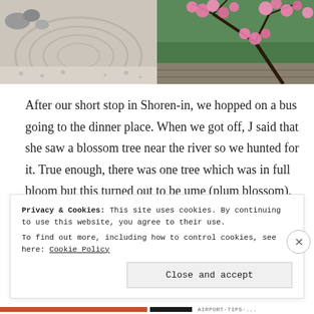[Figure (photo): Two photos side by side: left shows a zen garden with raked white gravel/stones in circular patterns; right shows pink plum blossom flowers on dark branches against greenery]
After our short stop in Shoren-in, we hopped on a bus going to the dinner place. When we got off, J said that she saw a blossom tree near the river so we hunted for it. True enough, there was one tree which was in full bloom but this turned out to be ume (plum blossom), not sakura. Nevertheless, the flowers were really pretty.
Privacy & Cookies: This site uses cookies. By continuing to use this website, you agree to their use.
To find out more, including how to control cookies, see here: Cookie Policy
Close and accept